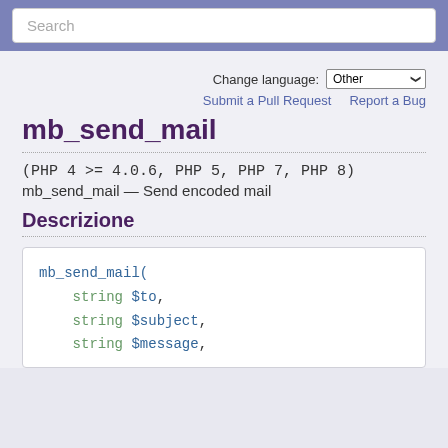Search
Change language: Other
Submit a Pull Request   Report a Bug
mb_send_mail
(PHP 4 >= 4.0.6, PHP 5, PHP 7, PHP 8)
mb_send_mail — Send encoded mail
Descrizione
mb_send_mail(
    string $to,
    string $subject,
    string $message,